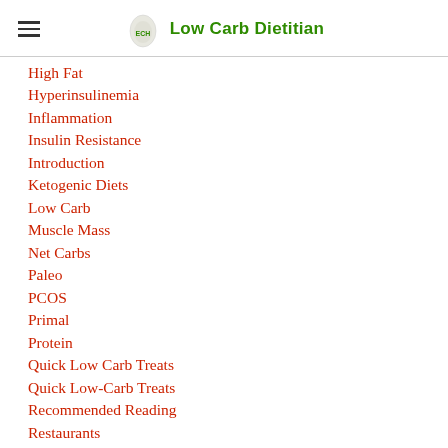Low Carb Dietitian
High Fat
Hyperinsulinemia
Inflammation
Insulin Resistance
Introduction
Ketogenic Diets
Low Carb
Muscle Mass
Net Carbs
Paleo
PCOS
Primal
Protein
Quick Low Carb Treats
Quick Low-Carb Treats
Recommended Reading
Restaurants
Recipes